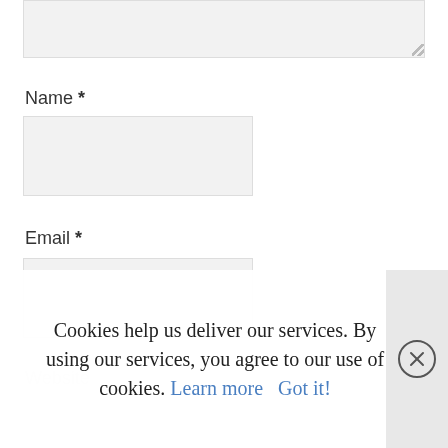[Figure (screenshot): Top portion of a web form textarea (cropped), showing gray background input area with resize handle at bottom-right corner]
Name *
[Figure (screenshot): Empty text input field for Name, gray background]
Email *
[Figure (screenshot): Empty text input field for Email, gray background]
Website
Cookies help us deliver our services. By using our services, you agree to our use of cookies. Learn more Got it!